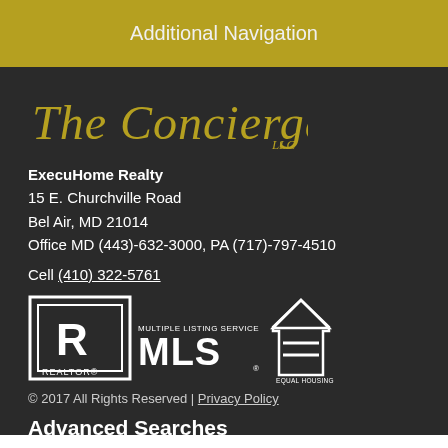Additional Navigation
[Figure (logo): The Concierge Group LLC logo in gold italic script on dark background]
ExecuHome Realty
15 E. Churchville Road
Bel Air, MD 21014
Office MD (443)-632-3000, PA (717)-797-4510
Cell (410) 322-5761
[Figure (logo): REALTOR and MLS Multiple Listing Service and Equal Housing Opportunity logos in white on dark background]
© 2017 All Rights Reserved | Privacy Policy
Advanced Searches